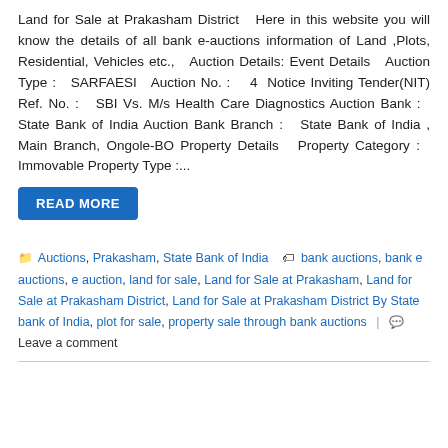Land for Sale at Prakasham District   Here in this website you will know the details of all bank e-auctions information of Land ,Plots, Residential, Vehicles etc.,   Auction Details: Event Details   Auction Type :   SARFAESI   Auction No. :    4  Notice Inviting Tender(NIT) Ref. No. :   SBI Vs. M/s Health Care Diagnostics Auction Bank :   State Bank of India Auction Bank Branch :   State Bank of India , Main Branch, Ongole-BO Property Details   Property Category :   Immovable Property Type :...
READ MORE
Auctions, Prakasham, State Bank of India   bank auctions, bank e auctions, e auction, land for sale, Land for Sale at Prakasham, Land for Sale at Prakasham District, Land for Sale at Prakasham District By State bank of India, plot for sale, property sale through bank auctions   Leave a comment